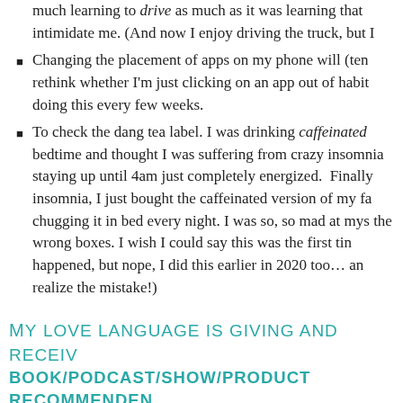much learning to drive as much as it was learning that intimidate me. (And now I enjoy driving the truck, but I
Changing the placement of apps on my phone will (ten rethink whether I'm just clicking on an app out of habit doing this every few weeks.
To check the dang tea label. I was drinking caffeinated bedtime and thought I was suffering from crazy insomnia staying up until 4am just completely energized. Finally insomnia, I just bought the caffeinated version of my favorite chugging it in bed every night. I was so, so mad at myself the wrong boxes. I wish I could say this was the first time happened, but nope, I did this earlier in 2020 too… and realize the mistake!)
My love language is giving and receiving book/podcast/show/product recommendations. If you have any, let me know!